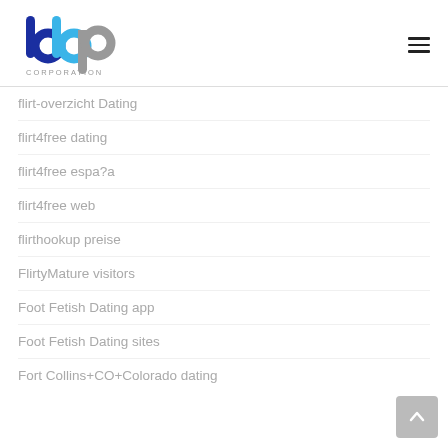[Figure (logo): BBP Corporation logo with blue and gray stylized letters and 'CORPORATION' text below]
flirt-overzicht Dating
flirt4free dating
flirt4free espa?a
flirt4free web
flirthookup preise
FlirtyMature visitors
Foot Fetish Dating app
Foot Fetish Dating sites
Fort Collins+CO+Colorado dating